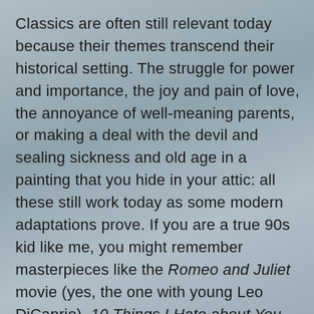Classics are often still relevant today because their themes transcend their historical setting. The struggle for power and importance, the joy and pain of love, the annoyance of well-meaning parents, or making a deal with the devil and sealing sickness and old age in a painting that you hide in your attic: all these still work today as some modern adaptations prove. If you are a true 90s kid like me, you might remember masterpieces like the Romeo and Juliet movie (yes, the one with young Leo DiCaprio), 10 Things I Hate about You, or Clueless. All of these are based on classic pieces by